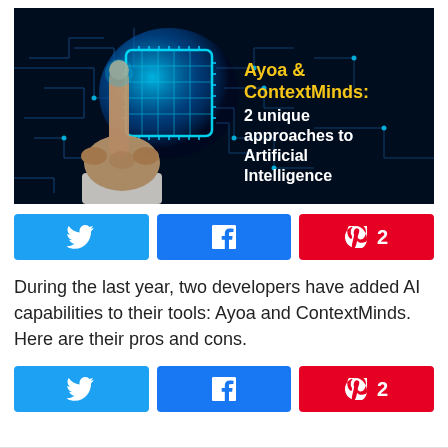[Figure (illustration): Hero image with a hand pointing finger at a glowing circuit board chip on a dark blue background with circuit lines. Overlaid text in yellow and white reads: 'Ayoa & ContextMinds: 2 unique approaches to Artificial Intelligence']
[Figure (infographic): Row of three social share buttons: Twitter (sky blue), Facebook (dark blue), Pinterest (red with count '2')]
During the last year, two developers have added AI capabilities to their tools: Ayoa and ContextMinds. Here are their pros and cons.
[Figure (infographic): Row of three social share buttons: Twitter (sky blue), Facebook (dark blue), Pinterest (red with count '2')]